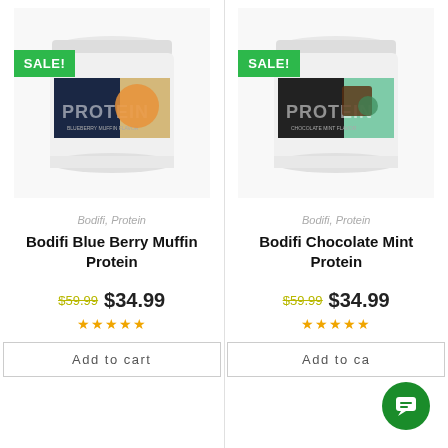[Figure (photo): Protein powder jar - Bodifi Blue Berry Muffin flavor with SALE badge]
Bodifi, Protein
Bodifi Blue Berry Muffin Protein
$59.99 $34.99
★★★★★
Add to cart
[Figure (photo): Protein powder jar - Bodifi Chocolate Mint flavor with SALE badge]
Bodifi, Protein
Bodifi Chocolate Mint Protein
$59.99 $34.99
★★★★★
Add to ca...